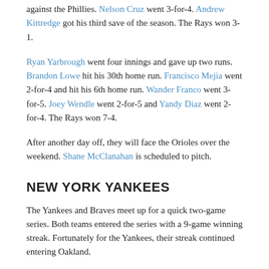against the Phillies. Nelson Cruz went 3-for-4. Andrew Kittredge got his third save of the season. The Rays won 3-1.
Ryan Yarbrough went four innings and gave up two runs. Brandon Lowe hit his 30th home run. Francisco Mejia went 2-for-4 and hit his 6th home run. Wander Franco went 3-for-5. Joey Wendle went 2-for-5 and Yandy Diaz went 2-for-4. The Rays won 7-4.
After another day off, they will face the Orioles over the weekend. Shane McClanahan is scheduled to pitch.
NEW YORK YANKEES
The Yankees and Braves meet up for a quick two-game series. Both teams entered the series with a 9-game winning streak. Fortunately for the Yankees, their streak continued entering Oakland.